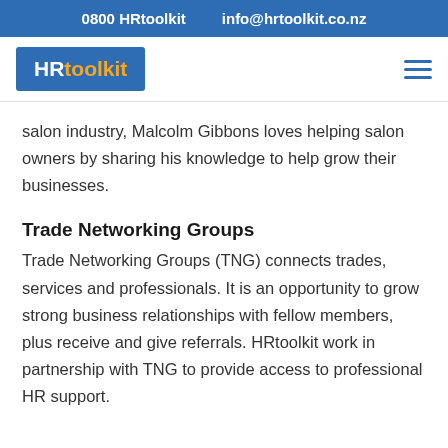0800 HRtoolkit    info@hrtoolkit.co.nz
[Figure (logo): HRtoolkit logo — blue rectangle with white 'HR' and yellow 'toolkit' text]
salon industry, Malcolm Gibbons loves helping salon owners by sharing his knowledge to help grow their businesses.
Trade Networking Groups
Trade Networking Groups (TNG) connects trades, services and professionals. It is an opportunity to grow strong business relationships with fellow members, plus receive and give referrals. HRtoolkit work in partnership with TNG to provide access to professional HR support.